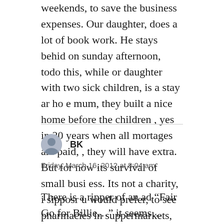weekends, to save the business expenses. Our daughter, does a lot of book work. He stays behid on sunday afternoon, todo this, while or daughter with two sick children, is a stay ar hoe mum, they built a nice home before the children , yes in 20 years when all mortages are paid, , they will have extra. But for now its survival of small busi ess. Its not a charity, i sipposr u would prefer, to see pharmacies in suppermarkets, owned by supermarkets,
BK
Friday, March 16, 2012 at 8:04 am
There is a ripper of an ad “Fair Go for Billie…” it seems… John… Alder… the…